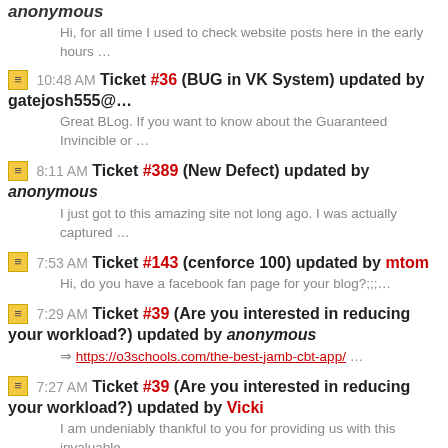anonymous
Hi, for all time I used to check website posts here in the early hours …
10:48 AM Ticket #36 (BUG in VK System) updated by gatejosh555@…
Great BLog. If you want to know about the Guaranteed Invincible or …
8:11 AM Ticket #389 (New Defect) updated by anonymous
I just got to this amazing site not long ago. I was actually captured …
7:53 AM Ticket #143 (cenforce 100) updated by mtom
Hi, do you have a facebook fan page for your blog?;;;…
7:29 AM Ticket #39 (Are you interested in reducing your workload?) updated by anonymous
https://o3schools.com/the-best-jamb-cbt-app/ …
7:27 AM Ticket #39 (Are you interested in reducing your workload?) updated by Vicki
I am undeniably thankful to you for providing us with this invaluable…